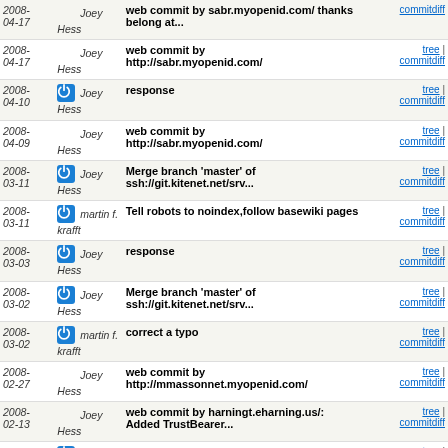| Date | Author | Message | Links |
| --- | --- | --- | --- |
| 2008-04-17 | Joey Hess | web commit by sabr.myopenid.com/ thanks belong at... | tree | commitdiff |
| 2008-04-17 | Joey Hess | web commit by http://sabr.myopenid.com/ | tree | commitdiff |
| 2008-04-10 | Joey Hess | response | tree | commitdiff |
| 2008-04-09 | Joey Hess | web commit by http://sabr.myopenid.com/ | tree | commitdiff |
| 2008-03-11 | Joey Hess | Merge branch 'master' of ssh://git.kitenet.net/srv... | tree | commitdiff |
| 2008-03-11 | martin f. krafft | Tell robots to noindex,follow basewiki pages | tree | commitdiff |
| 2008-03-03 | Joey Hess | response | tree | commitdiff |
| 2008-03-02 | Joey Hess | Merge branch 'master' of ssh://git.kitenet.net/srv... | tree | commitdiff |
| 2008-03-02 | martin f. krafft | correct a typo | tree | commitdiff |
| 2008-02-27 | Joey Hess | web commit by http://mmassonnet.myopenid.com/ | tree | commitdiff |
| 2008-02-13 | Joey Hess | web commit by harningt.eharning.us/: Added TrustBearer... | tree | commitdiff |
| 2008-02-10 | Joey Hess | improve wording and fix an example that is intentionall... | tree | commitdiff |